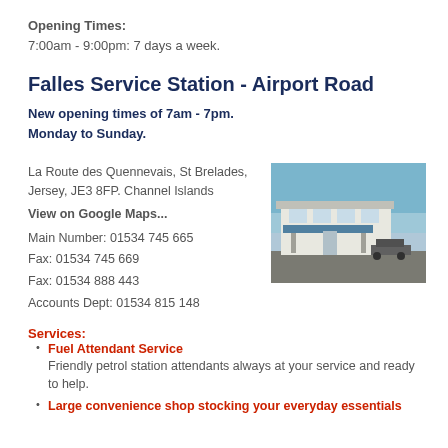Opening Times:
7:00am - 9:00pm: 7 days a week.
Falles Service Station - Airport Road
New opening times of 7am - 7pm.
Monday to Sunday.
La Route des Quennevais, St Brelades, Jersey, JE3 8FP. Channel Islands
View on Google Maps...
[Figure (photo): Exterior photo of Falles Service Station on Airport Road, showing a petrol station building with blue sky background]
Main Number: 01534 745 665
Fax: 01534 745 669
Fax: 01534 888 443
Accounts Dept: 01534 815 148
Services:
Fuel Attendant Service
Friendly petrol station attendants always at your service and ready to help.
Large convenience shop stocking your everyday essentials